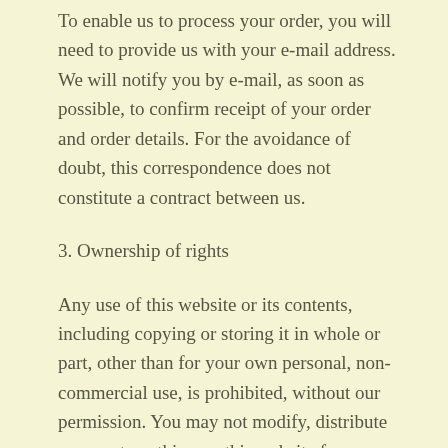To enable us to process your order, you will need to provide us with your e-mail address. We will notify you by e-mail, as soon as possible, to confirm receipt of your order and order details. For the avoidance of doubt, this correspondence does not constitute a contract between us.
3. Ownership of rights
Any use of this website or its contents, including copying or storing it in whole or part, other than for your own personal, non-commercial use, is prohibited, without our permission. You may not modify, distribute or repost anything on this website for any purpose.
4. Accuracy of content
We have taken care in the preparation of the content of this website, in particular to ensure that prices quoted are correct at the time of publishing and that all